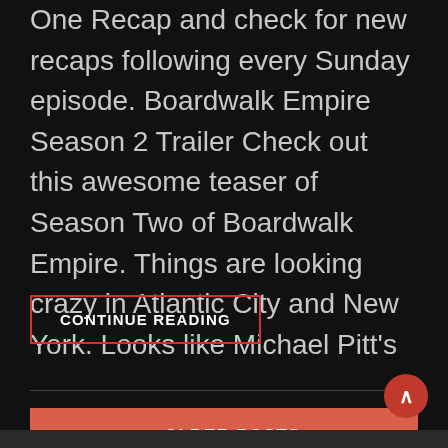One Recap and check for new recaps following every Sunday episode. Boardwalk Empire Season 2 Trailer Check out this awesome teaser of Season Two of Boardwalk Empire. Things are looking crazy in Atlantic City and New York. Looks like Michael Pitt's
CONTINUE READING
« OLDER POSTS